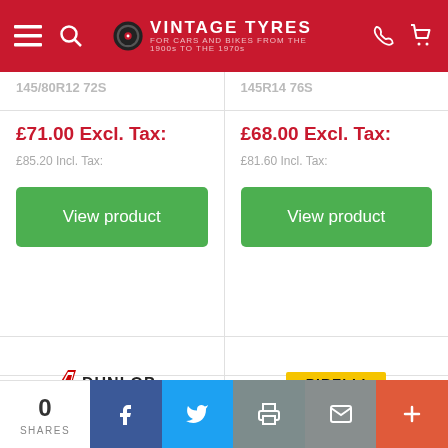[Figure (logo): Vintage Tyres website header with red background, hamburger menu, search icon, tyre logo with brand name, phone icon, and cart icon]
145/80R12 72S
145R14 76S
£71.00 Excl. Tax:
£85.20 Incl. Tax:
£68.00 Excl. Tax:
£81.60 Incl. Tax:
View product
View product
[Figure (logo): Dunlop tyre brand logo in black and red]
[Figure (logo): Pirelli tyre brand logo in yellow and black]
0 SHARES
[Figure (infographic): Social share bar with Facebook, Twitter, Print, Email, and More buttons]